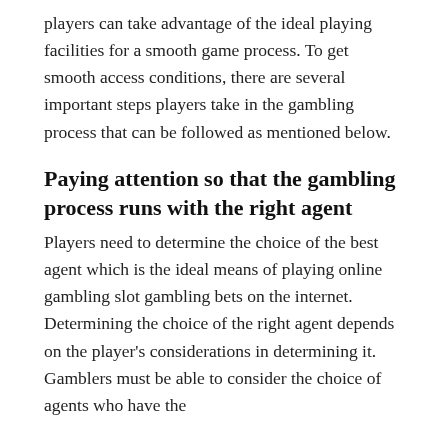players can take advantage of the ideal playing facilities for a smooth game process. To get smooth access conditions, there are several important steps players take in the gambling process that can be followed as mentioned below.
Paying attention so that the gambling process runs with the right agent
Players need to determine the choice of the best agent which is the ideal means of playing online gambling slot gambling bets on the internet. Determining the choice of the right agent depends on the player's considerations in determining it. Gamblers must be able to consider the choice of agents who have the